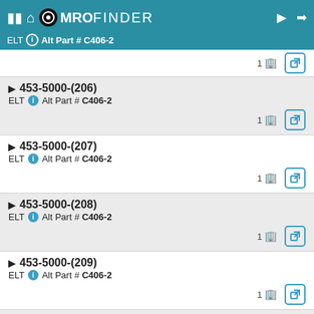MRO FINDER — ELT Alt Part # C406-2
453-5000-(206) ELT Alt Part # C406-2, 1 supplier
453-5000-(207) ELT Alt Part # C406-2, 1 supplier
453-5000-(208) ELT Alt Part # C406-2, 1 supplier
453-5000-(209) ELT Alt Part # C406-2, 1 supplier
453-5000-(213) ELT Alt Part # C406-2, 1 supplier